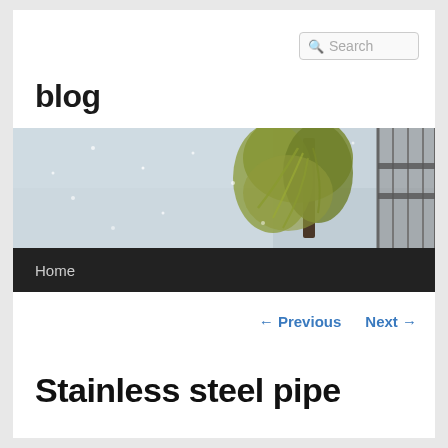Search
blog
[Figure (photo): A snowy winter scene with a weeping willow tree covered in yellow-green foliage, snow falling, and what appears to be a railing or fence structure on the right side.]
Home
← Previous   Next →
Stainless steel pipe